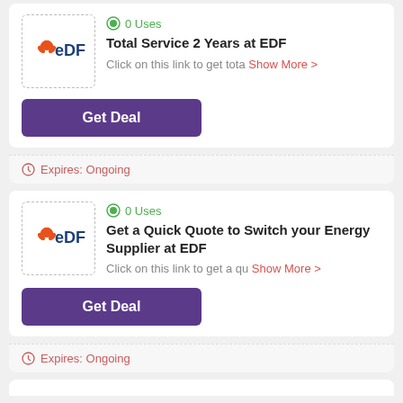0 Uses
Total Service 2 Years at EDF
Click on this link to get tota Show More >
Get Deal
Expires: Ongoing
0 Uses
Get a Quick Quote to Switch your Energy Supplier at EDF
Click on this link to get a qu Show More >
Get Deal
Expires: Ongoing